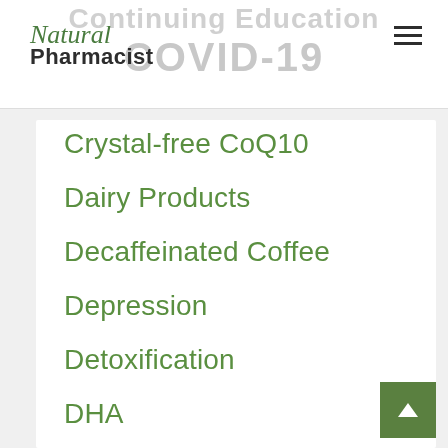Continuing Education COVID-19
Natural Pharmacist
Crystal-free CoQ10
Dairy Products
Decaffeinated Coffee
Depression
Detoxification
DHA
Diabetes
Diet